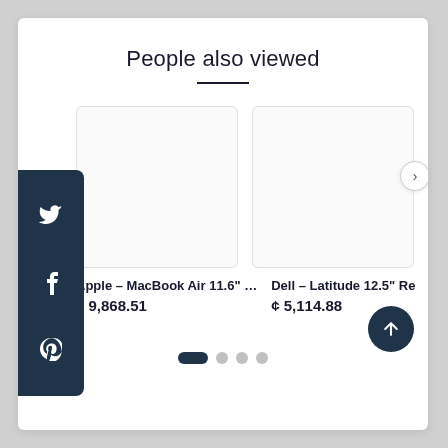People also viewed
[Figure (other): Product image placeholder for Apple MacBook Air 11.6" (blank white box)]
[Figure (other): Product image placeholder for Dell Latitude 12.5" Re... (blank white box)]
Apple – MacBook Air 11.6" ...
¢ 9,868.51
Dell – Latitude 12.5" Re
¢ 5,114.88